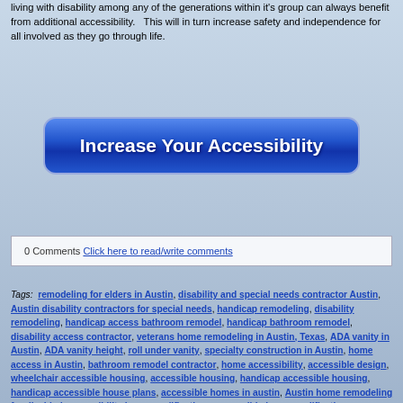living with disability among any of the generations within it's group can always benefit from additional accessibility.   This will in turn increase safety and independence for all involved as they go through life.
[Figure (other): Blue gradient button with white bold text: Increase Your Accessibility]
0 Comments  Click here to read/write comments
Tags:  remodeling for elders in Austin, disability and special needs contractor Austin, Austin disability contractors for special needs, handicap remodeling, disability remodeling, handicap access bathroom remodel, handicap bathroom remodel, disability access contractor, veterans home remodeling in Austin, Texas, ADA vanity in Austin, ADA vanity height, roll under vanity, specialty construction in Austin, home access in Austin, bathroom remodel contractor, home accessibility, accessible design, wheelchair accessible housing, accessible housing, handicap accessible housing, handicap accessible house plans, accessible homes in austin, Austin home remodeling for disabled, accessibility home modifications, accessible home modifications, wheelchair accessible bathroom, handicap bathroom design, handicap bathroom requirements, handicap bathroom sink, handicap bathroom vanity, modifying your home for a disabled child, handicap bathroom contractor in Austin, accessible home builder in